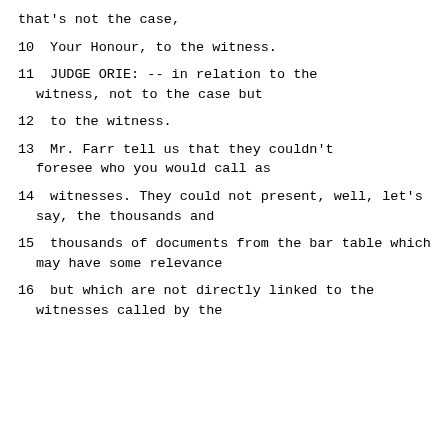that's not the case,
10     Your Honour, to the witness.
11          JUDGE ORIE:  -- in relation to the witness, not to the case but
12     to the witness.
13          Mr. Farr tell us that they couldn't foresee who you would call as
14     witnesses.  They could not present, well, let's say, the thousands and
15     thousands of documents from the bar table which may have some relevance
16     but which are not directly linked to the witnesses called by the